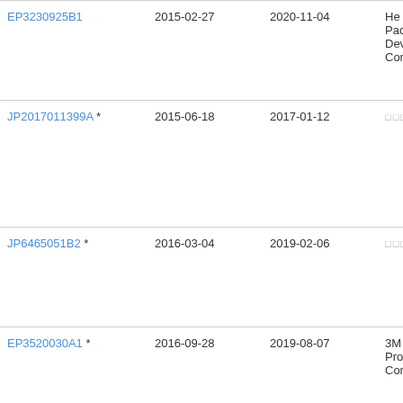| Patent | Filing Date | Publication Date | Assignee |
| --- | --- | --- | --- |
| EP3230925B1 | 2015-02-27 | 2020-11-04 | He... Pac... Dev... Con... |
| JP2017011399A * | 2015-06-18 | 2017-01-12 | □□□□ |
| JP6465051B2 * | 2016-03-04 | 2019-02-06 | □□□□ |
| EP3520030A1 * | 2016-09-28 | 2019-08-07 | 3M Pro... Con... |
| WO2018064212A1 | 2016-09-28 | 2018-04-05 | 3M Pro... |